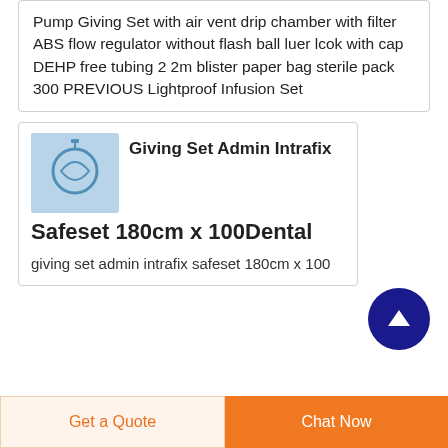Pump Giving Set with air vent drip chamber with filter ABS flow regulator without flash ball luer lcok with cap DEHP free tubing 2 2m blister paper bag sterile pack 300 PREVIOUS Lightproof Infusion Set
[Figure (photo): Small product thumbnail image of a giving set/infusion set product in blue tones]
Giving Set Admin Intrafix Safeset 180cm x 100Dental
giving set admin intrafix safeset 180cm x 100
Get a Quote
Chat Now